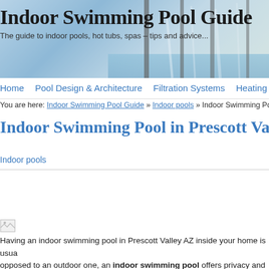[Figure (photo): Indoor swimming pool with glass windows and reflections — banner/header image]
Indoor Swimming Pool Guide
The guide to indoor pools, hot tubs, spas – tips and advice...
Home  Pool Design & Architecture  Filtration Systems  Heating Systems  Lig
You are here: Indoor Swimming Pool Guide » Indoor pools » Indoor Swimming Pool in Prescott Valley
Indoor Swimming Pool in Prescott Valley AZ
Indoor pools
[Figure (photo): Broken/missing image placeholder]
Having an indoor swimming pool in Prescott Valley AZ inside your home is usua opposed to an outdoor one, an indoor swimming pool offers privacy and year windy or hot outside in Prescott Valley AZ.